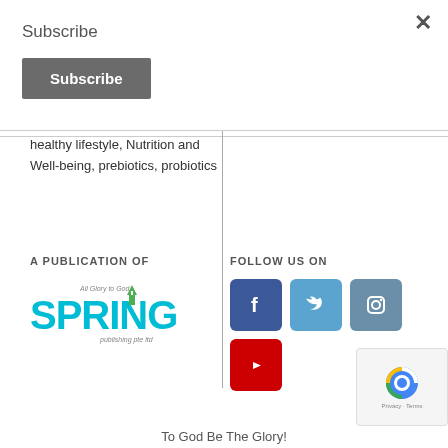Subscribe
Subscribe
healthy lifestyle, Nutrition and Well-being, prebiotics, probiotics
A PUBLICATION OF
[Figure (logo): Spring Publishing Pte Ltd logo with text 'All Glory to God']
FOLLOW US ON
[Figure (infographic): Social media icons: Facebook (blue), Twitter (light blue), Instagram (dark blue/grey), YouTube (red)]
To God Be The Glory!